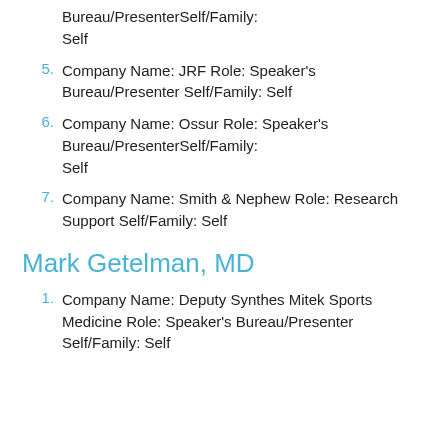Bureau/PresenterSelf/Family:
Self
5. Company Name: JRF Role: Speaker's Bureau/Presenter Self/Family: Self
6. Company Name: Ossur Role: Speaker's Bureau/PresenterSelf/Family:
Self
7. Company Name: Smith & Nephew Role: Research Support Self/Family: Self
Mark Getelman, MD
1. Company Name: Deputy Synthes Mitek Sports Medicine Role: Speaker's Bureau/Presenter Self/Family: Self